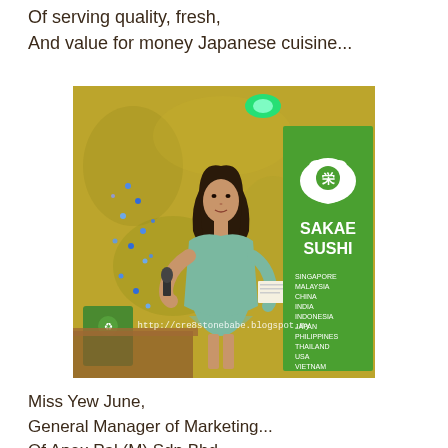Of serving quality, fresh,
And value for money Japanese cuisine...
[Figure (photo): A woman in a teal/green dress holding a microphone and papers, speaking at a Sakae Sushi event. A green Sakae Sushi banner is visible on the right listing countries: Singapore, Malaysia, China, India, Indonesia, Japan, Philippines, Thailand, USA, Vietnam. The background has blue string lights and a decorative wall. Watermark reads: http://cre8stonebabe.blogspot.my]
Miss Yew June,
General Manager of Marketing...
Of Apex Pal (M) Sdn Bhd